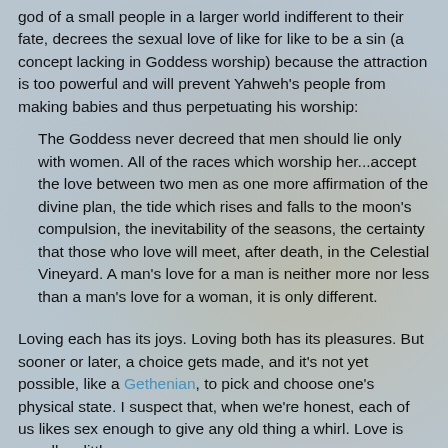god of a small people in a larger world indifferent to their fate, decrees the sexual love of like for like to be a sin (a concept lacking in Goddess worship) because the attraction is too powerful and will prevent Yahweh's people from making babies and thus perpetuating his worship:
The Goddess never decreed that men should lie only with women. All of the races which worship her...accept the love between two men as one more affirmation of the divine plan, the tide which rises and falls to the moon's compulsion, the inevitability of the seasons, the certainty that those who love will meet, after death, in the Celestial Vineyard. A man's love for a man is neither more nor less than a man's love for a woman, it is only different.
Loving each has its joys. Loving both has its pleasures. But sooner or later, a choice gets made, and it's not yet possible, like a Gethenian, to pick and choose one's physical state. I suspect that, when we're honest, each of us likes sex enough to give any old thing a whirl. Love is usually a little choosier. Falling in love is-Grace. Grace, for all the...